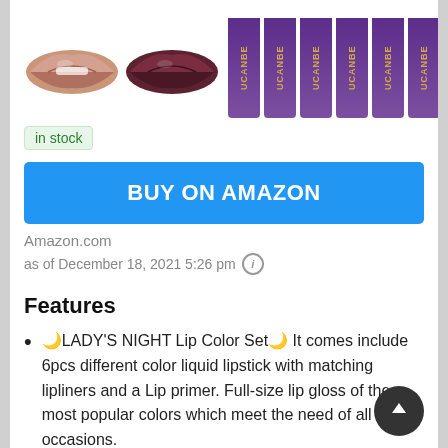[Figure (photo): Product image showing two sets of lips in nude and dark mauve colors, alongside 6 purple UCANBE branded lip product sticks arranged vertically]
in stock
BUY ON AMAZON
Amazon.com
as of December 18, 2021 5:26 pm
Features
🌙LADY'S NIGHT Lip Color Set🌙 It comes include 6pcs different color liquid lipstick with matching lipliners and a Lip primer. Full-size lip gloss of the most popular colors which meet the need of all occasions.